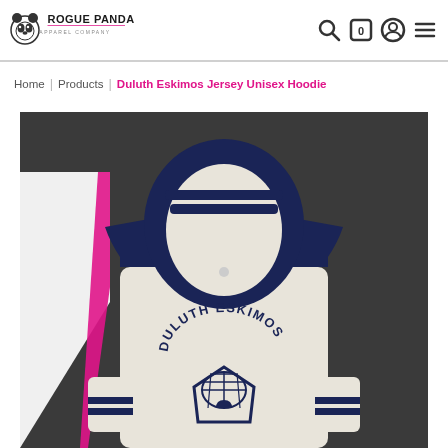Rogue Panda Apparel Company
Home | Products | Duluth Eskimos Jersey Unisex Hoodie
[Figure (photo): Product photo of a Duluth Eskimos jersey unisex hoodie. The hoodie is cream/off-white with navy blue accents on the shoulders, hood stripes, and wrist cuffs. The front features an arc text reading 'DULUTH ESKIMOS' above a pentagonal igloo logo. Photographed on a dark gray background with a white and pink geometric background element on the left side.]